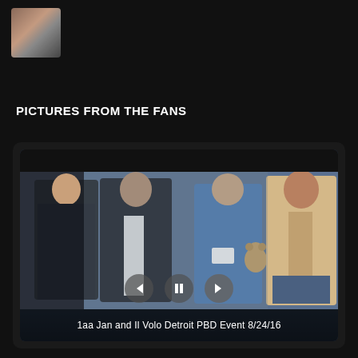[Figure (photo): Small profile picture thumbnail of a person, top left corner]
PICTURES FROM THE FANS
[Figure (photo): Slideshow photo showing four people standing together: three men and one woman in a blue shirt holding a teddy bear. Two men in dark suits on the left, one woman in blue in the center-right, one man in a beige blazer on the right. Caption reads: 1aa Jan and Il Volo Detroit PBD Event 8/24/16]